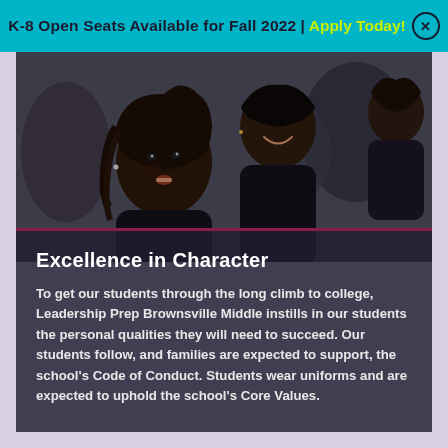K-8 Open Seats Available for Fall 2022 | Apply Today! ×
[Figure (photo): Photo of students in school uniforms smiling and talking to each other in a classroom setting. Three young Black female students visible, wearing dark clothing.]
Excellence in Character
To get our students through the long climb to college, Leadership Prep Brownsville Middle instills in our students the personal qualities they will need to succeed. Our students follow, and families are expected to support, the school's Code of Conduct. Students wear uniforms and are expected to uphold the school's Core Values.